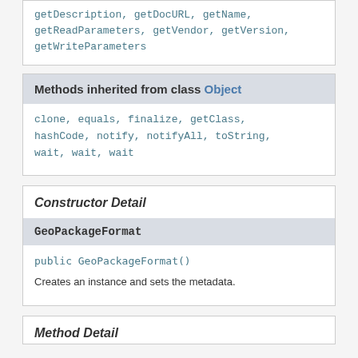getDescription, getDocURL, getName, getReadParameters, getVendor, getVersion, getWriteParameters
Methods inherited from class Object
clone, equals, finalize, getClass, hashCode, notify, notifyAll, toString, wait, wait, wait
Constructor Detail
GeoPackageFormat
public GeoPackageFormat()
Creates an instance and sets the metadata.
Method Detail